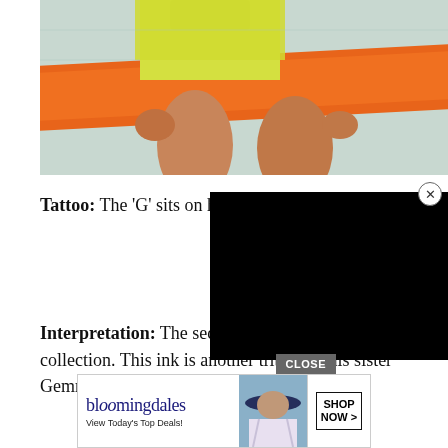[Figure (photo): Photo of a person in yellow shorts holding an orange fabric/scarf, cropped to show torso and legs against a light background.]
Tattoo: The 'G' sits on his shoulder.
Interpretation: The second 'G' within his body art collection. This ink is another tribute to his sister Gemma
[Figure (other): Black advertisement overlay box covering part of the page]
[Figure (other): Bloomingdale's advertisement banner: 'bloomingdales - View Today's Top Deals!' with SHOP NOW > button]